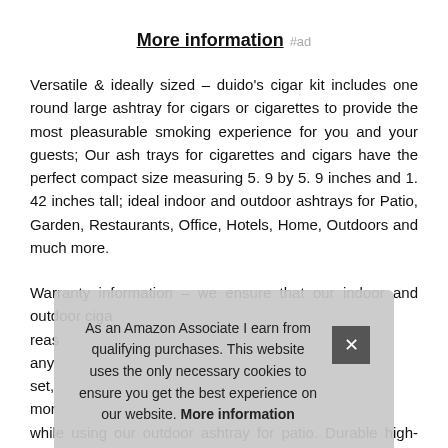More information #ad
Versatile & ideally sized – duido's cigar kit includes one round large ashtray for cigars or cigarettes to provide the most pleasurable smoking experience for you and your guests; Our ash trays for cigarettes and cigars have the perfect compact size measuring 5. 9 by 5. 9 inches and 1. 42 inches tall; ideal indoor and outdoor ashtrays for Patio, Garden, Restaurants, Office, Hotels, Home, Outdoors and much more.
Warranty information – we ensure that our indoor and outdoor cigar... reas... any... set,... mor... while using our outdoor ashtray for patio. Durable high-quality
As an Amazon Associate I earn from qualifying purchases. This website uses the only necessary cookies to ensure you get the best experience on our website. More information